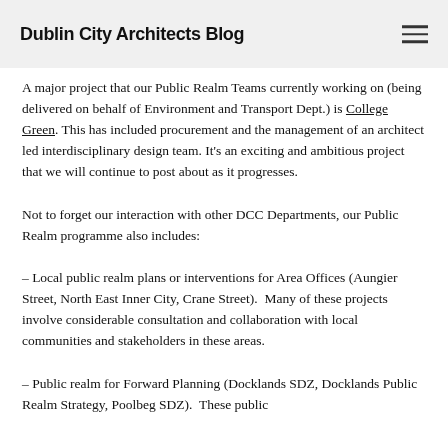Dublin City Architects Blog
A major project that our Public Realm Teams currently working on (being delivered on behalf of Environment and Transport Dept.) is College Green. This has included procurement and the management of an architect led interdisciplinary design team. It's an exciting and ambitious project that we will continue to post about as it progresses.
Not to forget our interaction with other DCC Departments, our Public Realm programme also includes:
– Local public realm plans or interventions for Area Offices (Aungier Street, North East Inner City, Crane Street). Many of these projects involve considerable consultation and collaboration with local communities and stakeholders in these areas.
– Public realm for Forward Planning (Docklands SDZ, Docklands Public Realm Strategy, Poolbeg SDZ). These public